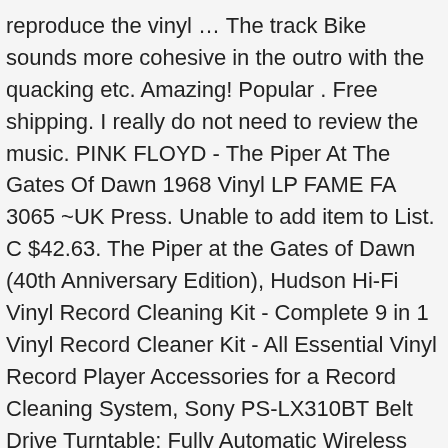reproduce the vinyl … The track Bike sounds more cohesive in the outro with the quacking etc. Amazing! Popular . Free shipping. I really do not need to review the music. PINK FLOYD - The Piper At The Gates Of Dawn 1968 Vinyl LP FAME FA 3065 ~UK Press. Unable to add item to List. C $42.63. The Piper at the Gates of Dawn (40th Anniversary Edition), Hudson Hi-Fi Vinyl Record Cleaning Kit - Complete 9 in 1 Vinyl Record Cleaner Kit - All Essential Vinyl Record Player Accessories for a Record Cleaning System, Sony PS-LX310BT Belt Drive Turntable: Fully Automatic Wireless Vinyl Record Player with Bluetooth and USB Output Black, NIUBEE Black Vinyl Record Shelf Wall Mount 6 Pack, Acrylic Album Record Holder Display Your Daily LP Listening in Office Home, Audio-Technica AT-LP60X-BK Fully Automatic Belt-Drive